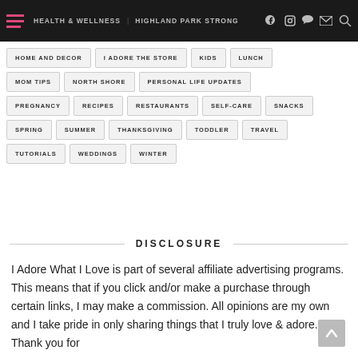HEALTH & WELLNESS | HIGHLAND PARK STRONG
HOME AND DECOR
I ADORE THE STORE
KIDS
LUNCH
MOM TIPS
NORTH SHORE
PERSONAL LIFE UPDATES
PREGNANCY
RECIPES
RESTAURANTS
SELF-CARE
SNACKS
SPRING
SUMMER
THANKSGIVING
TODDLER
TRAVEL
TUTORIALS
WEDDINGS
WINTER
DISCLOSURE
I Adore What I Love is part of several affiliate advertising programs. This means that if you click and/or make a purchase through certain links, I may make a commission. All opinions are my own and I take pride in only sharing things that I truly love & adore. Thank you for